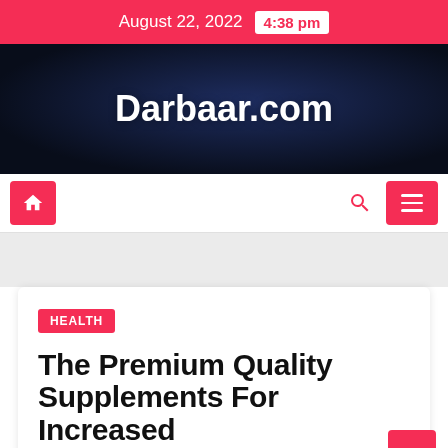August 22, 2022  4:38 pm
Darbaar.com
HEALTH
The Premium Quality Supplements For Increased